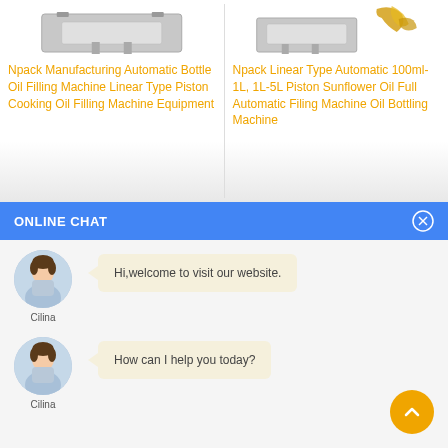[Figure (photo): Product image of Npack Manufacturing Automatic Bottle Oil Filling Machine Linear Type Piston Cooking Oil Filling Machine Equipment]
Npack Manufacturing Automatic Bottle Oil Filling Machine Linear Type Piston Cooking Oil Filling Machine Equipment
[Figure (photo): Product image of Npack Linear Type Automatic 100ml-1L, 1L-5L Piston Sunflower Oil Full Automatic Filing Machine Oil Bottling Machine]
Npack Linear Type Automatic 100ml-1L, 1L-5L Piston Sunflower Oil Full Automatic Filing Machine Oil Bottling Machine
ONLINE CHAT
[Figure (photo): Avatar of chat agent named Cilina]
Cilina
Hi,welcome to visit our website.
[Figure (photo): Avatar of chat agent named Cilina]
Cilina
How can I help you today?